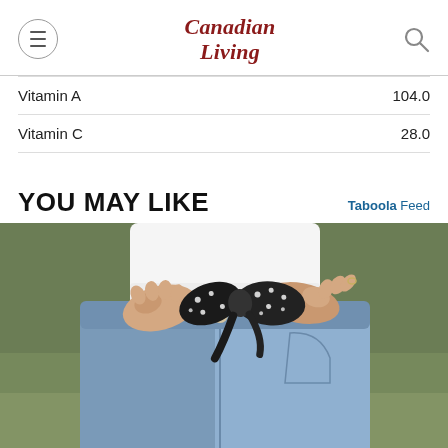Canadian Living
| Nutrient | Value |
| --- | --- |
| Vitamin A | 104.0 |
| Vitamin C | 28.0 |
YOU MAY LIKE
Taboola Feed
[Figure (photo): Close-up photo of a person wearing jeans and a white top, holding a black polka-dot scrunchie or bow at their waist, with a blurred green background.]